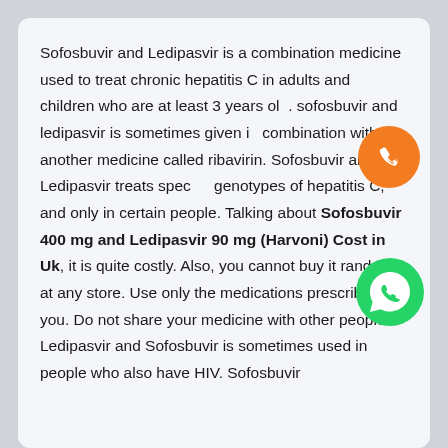Sofosbuvir and Ledipasvir is a combination medicine used to treat chronic hepatitis C in adults and children who are at least 3 years old. sofosbuvir and ledipasvir is sometimes given in combination with another medicine called ribavirin. Sofosbuvir and Ledipasvir treats specific genotypes of hepatitis C, and only in certain people. Talking about Sofosbuvir 400 mg and Ledipasvir 90 mg (Harvoni) Cost in Uk, it is quite costly. Also, you cannot buy it randomly at any store. Use only the medications prescribed for you. Do not share your medicine with other people. Ledipasvir and Sofosbuvir is sometimes used in people who also have HIV. Sofosbuvir
[Figure (illustration): Orange circular phone/call icon button on the right side]
[Figure (illustration): Green WhatsApp icon button on the right side]